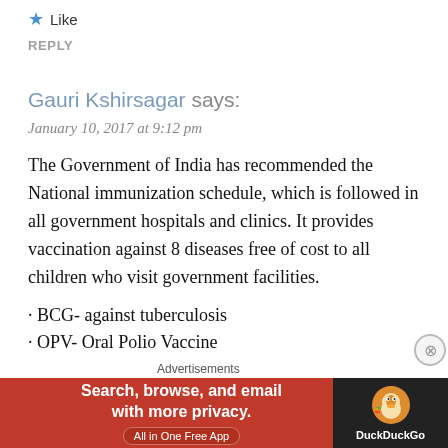★ Like
REPLY
Gauri Kshirsagar says:
January 10, 2017 at 9:12 pm
The Government of India has recommended the National immunization schedule, which is followed in all government hospitals and clinics. It provides vaccination against 8 diseases free of cost to all children who visit government facilities.
· BCG- against tuberculosis
· OPV- Oral Polio Vaccine
· Hep B- Hepatitis B
· HiB- H. influenze B
· DPT- Diphtheria, Pertussis, Tetanus
[Figure (screenshot): DuckDuckGo advertisement banner: 'Search, browse, and email with more privacy. All in One Free App' with DuckDuckGo logo on dark background]